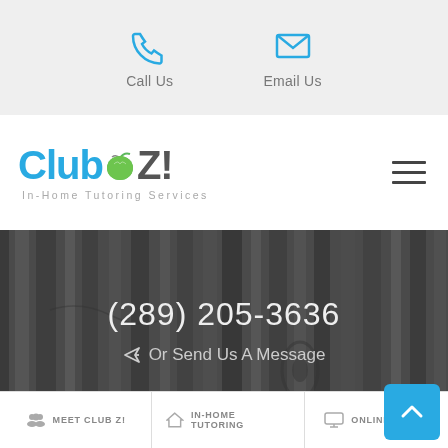Call Us   Email Us
[Figure (logo): Club Z! In-Home Tutoring Services logo with blue text and green apple icon]
(289) 205-3636
Or Send Us A Message
MEET CLUB Z!   IN-HOME TUTORING   ONLINE TUTOR